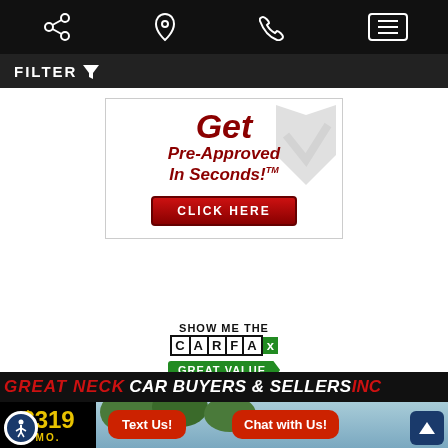Navigation bar with share, location, phone, and menu icons
FILTER
[Figure (infographic): Get Pre-Approved In Seconds! promotional banner with CLICK HERE button and grey chevron/checkmark background]
[Figure (logo): SHOW ME THE CARFAX - GREAT VALUE badge]
GREAT NECK CAR BUYERS & SELLERS INC
$319 MO.
Text Us!
Chat with Us!